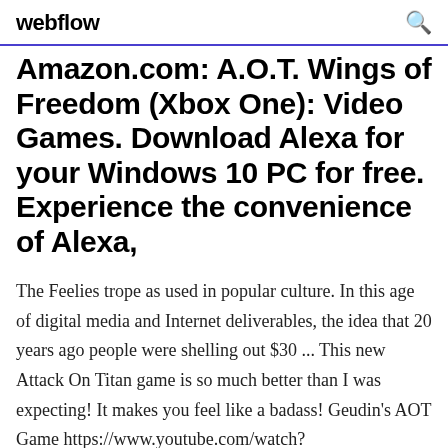webflow
Amazon.com: A.O.T. Wings of Freedom (Xbox One): Video Games. Download Alexa for your Windows 10 PC for free. Experience the convenience of Alexa,
The Feelies trope as used in popular culture. In this age of digital media and Internet deliverables, the idea that 20 years ago people were shelling out $30 ... This new Attack On Titan game is so much better than I was expecting! It makes you feel like a badass! Geudin's AOT Game https://www.youtube.com/watch?